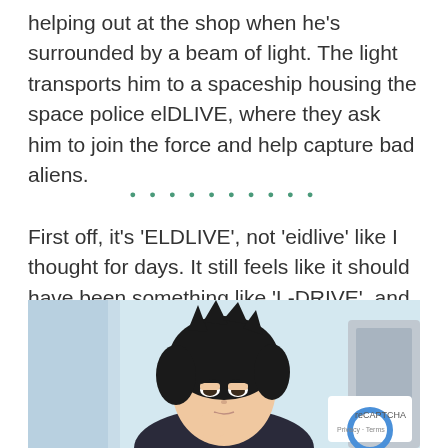helping out at the shop when he's surrounded by a beam of light. The light transports him to a spaceship housing the space police elDLIVE, where they ask him to join the force and help capture bad aliens.
[Figure (other): Row of teal/green dots used as a section divider]
First off, it's 'ELDLIVE', not 'eidlive' like I thought for days. It still feels like it should have been something like 'L-DRIVE', and only time will tell whether that romanisation choice has a reason.
[Figure (screenshot): Anime screenshot showing a dark-haired character in a suit, with a reCAPTCHA badge overlay in the bottom right corner showing Privacy and Terms text.]